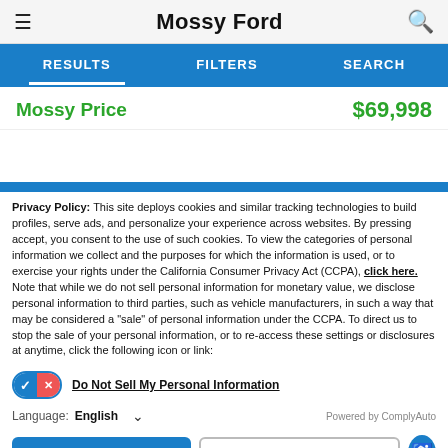Mossy Ford
RESULTS   FILTERS   SEARCH
Mossy Price   $69,998
Privacy Policy: This site deploys cookies and similar tracking technologies to build profiles, serve ads, and personalize your experience across websites. By pressing accept, you consent to the use of such cookies. To view the categories of personal information we collect and the purposes for which the information is used, or to exercise your rights under the California Consumer Privacy Act (CCPA), click here. Note that while we do not sell personal information for monetary value, we disclose personal information to third parties, such as vehicle manufacturers, in such a way that may be considered a "sale" of personal information under the CCPA. To direct us to stop the sale of your personal information, or to re-access these settings or disclosures at anytime, click the following icon or link:
Do Not Sell My Personal Information
Language: English
Powered by ComplyAuto
Accept and Continue →   California Privacy Disclosures